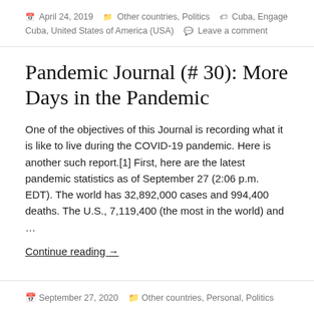April 24, 2019  Other countries, Politics  Cuba, Engage Cuba, United States of America (USA)  Leave a comment
Pandemic Journal (# 30): More Days in the Pandemic
One of the objectives of this Journal is recording what it is like to live during the COVID-19 pandemic. Here is another such report.[1] First, here are the latest pandemic statistics as of September 27 (2:06 p.m. EDT). The world has 32,892,000 cases and 994,400 deaths. The U.S., 7,119,400 (the most in the world) and …
Continue reading →
September 27, 2020  Other countries, Personal, Politics